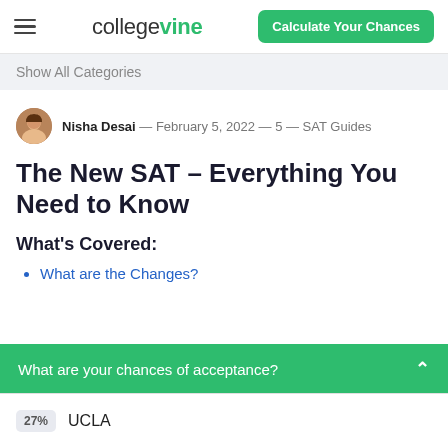collegevine — Calculate Your Chances
Show All Categories
Nisha Desai — February 5, 2022 — 5 — SAT Guides
The New SAT – Everything You Need to Know
What's Covered:
What are the Changes?
What are your chances of acceptance?
27% UCLA